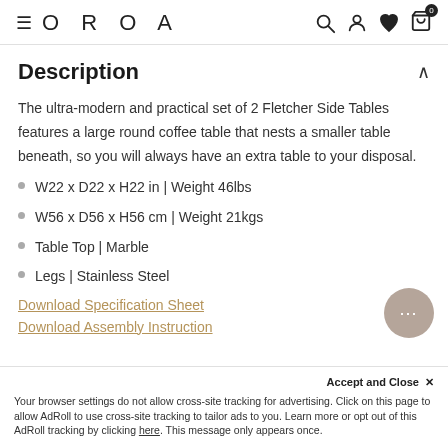≡  O R O A
Description
The ultra-modern and practical set of 2 Fletcher Side Tables features a large round coffee table that nests a smaller table beneath, so you will always have an extra table to your disposal.
W22 x D22 x H22 in | Weight 46lbs
W56 x D56 x H56 cm | Weight 21kgs
Table Top | Marble
Legs | Stainless Steel
Download Specification Sheet
Download Assembly Instruction
Nesting Side Table | Eichholtz Fletc...
Accept and Close ✕
Your browser settings do not allow cross-site tracking for advertising. Click on this page to allow AdRoll to use cross-site tracking to tailor ads to you. Learn more or opt out of this AdRoll tracking by clicking here. This message only appears once.